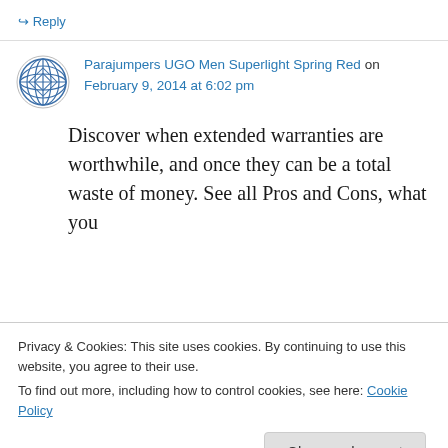↪ Reply
Parajumpers UGO Men Superlight Spring Red on February 9, 2014 at 6:02 pm
Discover when extended warranties are worthwhile, and once they can be a total waste of money. See all Pros and Cons, what you
Privacy & Cookies: This site uses cookies. By continuing to use this website, you agree to their use.
To find out more, including how to control cookies, see here: Cookie Policy
Close and accept